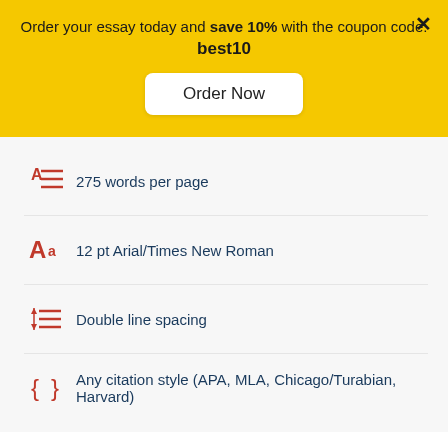Order your essay today and save 10% with the coupon code: best10
Order Now
275 words per page
12 pt Arial/Times New Roman
Double line spacing
Any citation style (APA, MLA, Chicago/Turabian, Harvard)
our guarantees